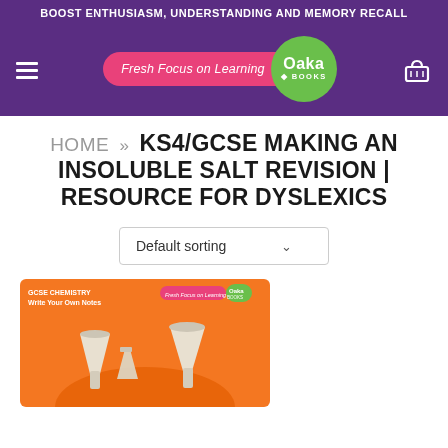BOOST ENTHUSIASM, UNDERSTANDING AND MEMORY RECALL
[Figure (logo): Oaka Books logo with pink pill shape reading 'Fresh Focus on Learning' and green circle with 'Oaka BOOKS']
HOME » KS4/GCSE MAKING AN INSOLUBLE SALT REVISION | RESOURCE FOR DYSLEXICS
Default sorting
[Figure (photo): GCSE Chemistry Write Your Own Notes book cover with orange background showing laboratory funnels/beakers]